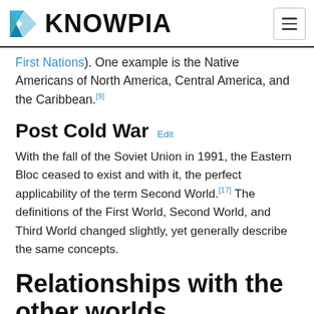KNOWPIA
First Nations). One example is the Native Americans of North America, Central America, and the Caribbean.[9]
Post Cold War Edit
With the fall of the Soviet Union in 1991, the Eastern Bloc ceased to exist and with it, the perfect applicability of the term Second World.[17] The definitions of the First World, Second World, and Third World changed slightly, yet generally describe the same concepts.
Relationships with the other worlds Edit
Historic Edit